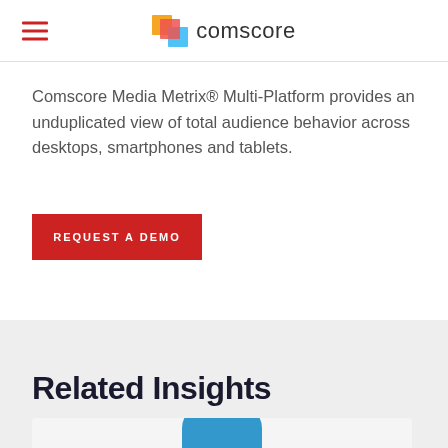comscore
Comscore Media Metrix® Multi-Platform provides an unduplicated view of total audience behavior across desktops, smartphones and tablets.
REQUEST A DEMO
Related Insights
[Figure (other): Partial card preview with blue circular graphic at bottom of page]